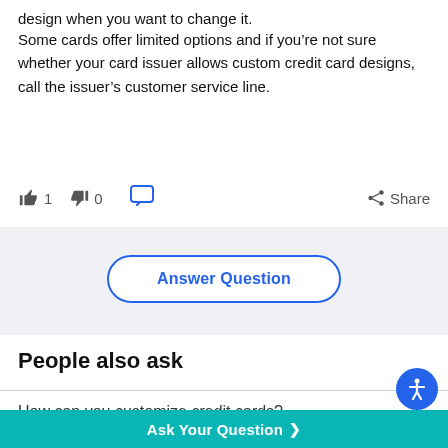design when you want to change it.
Some cards offer limited options and if you’re not sure whether your card issuer allows custom credit card designs, call the issuer’s customer service line.
[Figure (infographic): Thumbs up with count 1, thumbs down with count 0, speech bubble icon, and Share button with share icon]
Answer Question
People also ask
How can you customize credit cards?
There are various ways to customize credit cards;
Ask Your Question